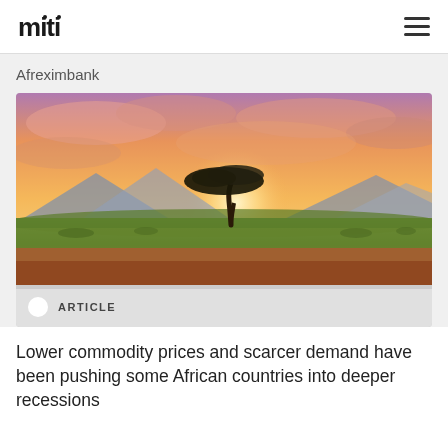miti
Afreximbank
[Figure (photo): African savanna landscape at sunset with a single acacia tree silhouetted against orange and pink sky with mountains in background and green grassland below]
ARTICLE
Lower commodity prices and scarcer demand have been pushing some African countries into deeper recessions